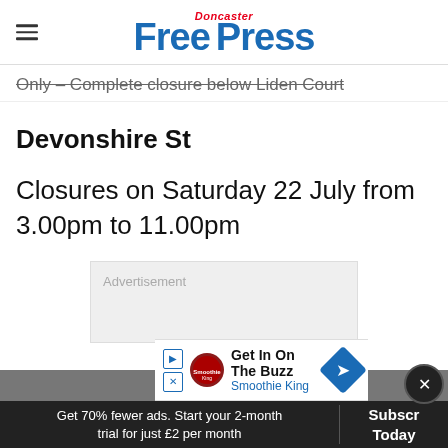Doncaster Free Press
Only – Complete closure below Liden Court
Devonshire St
Closures on Saturday 22 July from 3.00pm to 11.00pm
[Figure (other): Advertisement placeholder box (grey background)]
[Figure (other): Smoothie King advertisement banner: Get In On The Buzz]
Get 70% fewer ads. Start your 2-month trial for just £2 per month
Subscribe Today